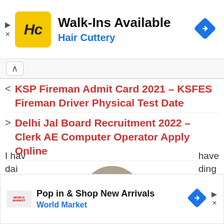[Figure (logo): Hair Cuttery advertisement banner with HC logo in yellow square, text 'Walk-Ins Available' and 'Hair Cuttery' in blue, with navigation diamond icon]
[Figure (other): Navigation bar with upward chevron button]
KSP Fireman Admit Card 2021 – KSFES Fireman Driver Physical Test Date
Delhi Jal Board Recruitment 2022 – Clerk AE Computer Operator Apply Online
[Figure (photo): Circular cropped photo of hands typing on a laptop keyboard]
[Figure (logo): World Market advertisement banner with text 'Pop in & Shop New Arrivals' and 'World Market' in blue]
I have ... have dai... ding